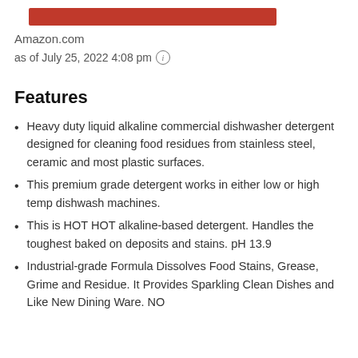[Figure (other): Red horizontal bar graphic]
Amazon.com
as of July 25, 2022 4:08 pm ⓘ
Features
Heavy duty liquid alkaline commercial dishwasher detergent designed for cleaning food residues from stainless steel, ceramic and most plastic surfaces.
This premium grade detergent works in either low or high temp dishwash machines.
This is HOT HOT alkaline-based detergent. Handles the toughest baked on deposits and stains. pH 13.9
Industrial-grade Formula Dissolves Food Stains, Grease, Grime and Residue. It Provides Sparkling Clean Dishes and Like New Dining Ware. NO